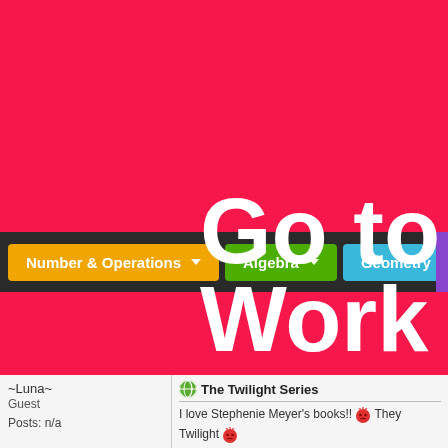[Figure (screenshot): Red background navigation bar screenshot showing buttons: Number & Operations (orange), Algebra (green), Geometry (blue), and partial purple button. Large white text reads 'Go to' and 'Work' on red background.]
~Luna~
Guest

Posts: n/a
The Twilight Series
I love Stephenie Meyer's books!! They

Twilight

Midnight Sun